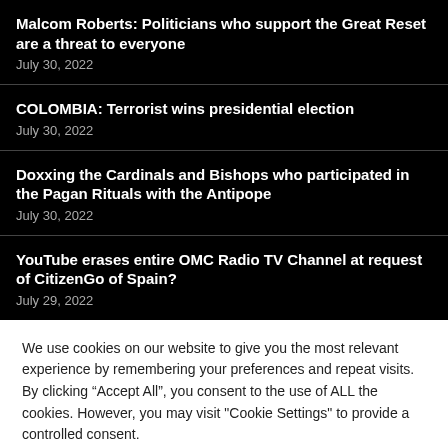Malcom Roberts: Politicians who support the Great Reset are a threat to everyone
July 30, 2022
COLOMBIA: Terrorist wins presidential election
July 30, 2022
Doxxing the Cardinals and Bishops who participated in the Pagan Rituals with the Antipope
July 30, 2022
YouTube erases entire OMC Radio TV Channel at request of CitizenGo of Spain?
July 29, 2022
We use cookies on our website to give you the most relevant experience by remembering your preferences and repeat visits. By clicking “Accept All”, you consent to the use of ALL the cookies. However, you may visit "Cookie Settings" to provide a controlled consent.